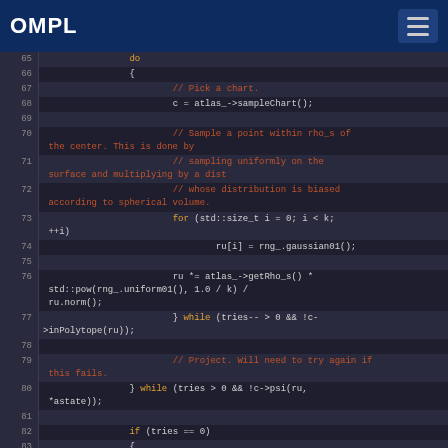OMPL
[Figure (screenshot): Code editor screenshot showing C++ source code lines 65-85 with syntax highlighting. Keywords in orange, comments in red/brown, on dark background.]